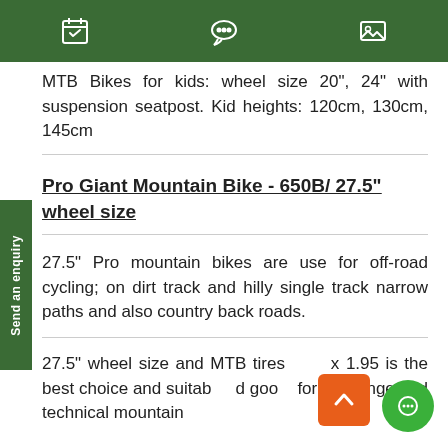[Navigation bar with calendar, chat, and image icons]
MTB Bikes for kids: wheel size 20", 24" with suspension seatpost. Kid heights: 120cm, 130cm, 145cm
Pro Giant Mountain Bike - 650B/ 27.5" wheel size
27.5" Pro mountain bikes are use for off-road cycling; on dirt track and hilly single track narrow paths and also country back roads.
27.5" wheel size and MTB tires 2" x 1.95 is the best choice and suitable and good for challenge and technical mountain